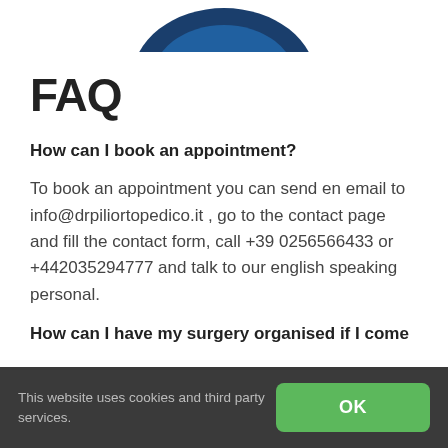[Figure (logo): Partial blue ellipse/logo visible at the top of the page (cropped)]
FAQ
How can I book an appointment?
To book an appointment you can send en email to info@drpiliortopedico.it , go to the contact page and fill the contact form, call +39 0256566433 or +442035294777 and talk to our english speaking personal.
How can I have my surgery organised if I come
This website uses cookies and third party services.